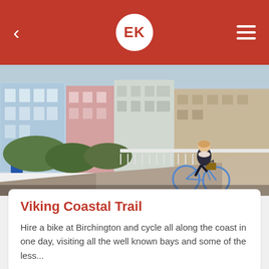EK
[Figure (photo): Woman riding a blue bicycle along a coastal path, with colourful terraced houses in the background]
Viking Coastal Trail
Hire a bike at Birchington and cycle all along the coast in one day, visiting all the well known bays and some of the less...